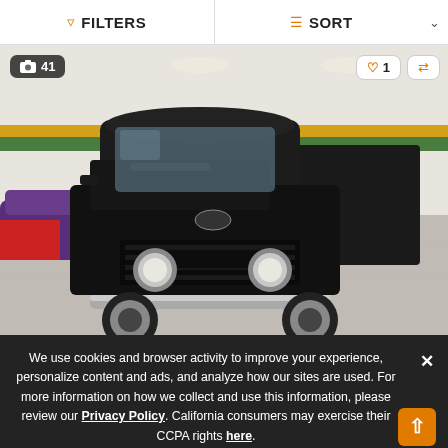FILTERS   SORT
[Figure (photo): Classic black Ford pickup truck from the early 1950s, front-facing view in a showroom/garage with other classic cars visible in background. The truck has chrome bumper, round headlights, and polished wheels.]
We use cookies and browser activity to improve your experience, personalize content and ads, and analyze how our sites are used. For more information on how we collect and use this information, please review our Privacy Policy. California consumers may exercise their CCPA rights here.